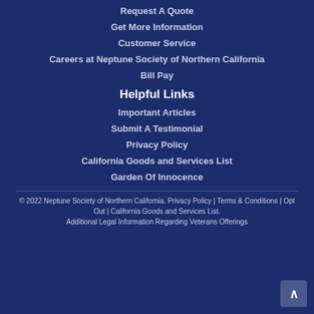Request A Quote
Get More Information
Customer Service
Careers at Neptune Society of Northern California
Bill Pay
Helpful Links
Important Articles
Submit A Testimonial
Privacy Policy
California Goods and Services List
Garden Of Innocence
© 2022 Neptune Society of Northern California. Privacy Policy | Terms & Conditions | Opt Out | California Goods and Services List.
Additional Legal Information Regarding Veterans Offerings